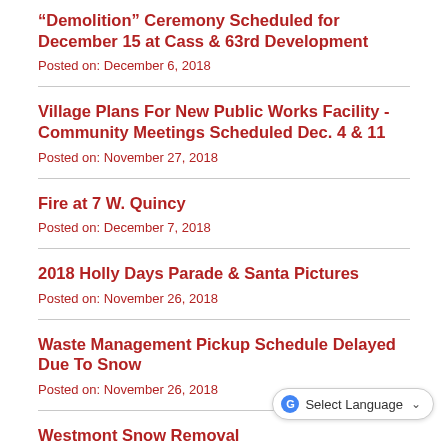“Demolition” Ceremony Scheduled for December 15 at Cass & 63rd Development
Posted on: December 6, 2018
Village Plans For New Public Works Facility - Community Meetings Scheduled Dec. 4 & 11
Posted on: November 27, 2018
Fire at 7 W. Quincy
Posted on: December 7, 2018
2018 Holly Days Parade & Santa Pictures
Posted on: November 26, 2018
Waste Management Pickup Schedule Delayed Due To Snow
Posted on: November 26, 2018
Westmont Snow Removal Oper... Restrictions